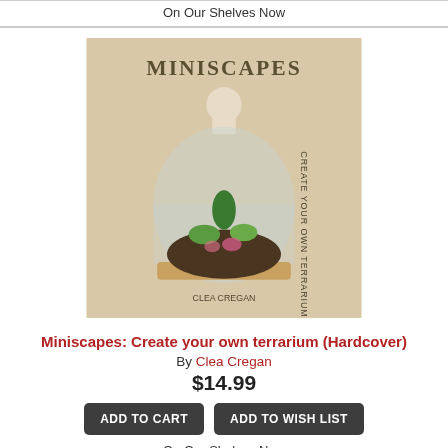On Our Shelves Now
[Figure (photo): Book cover of Miniscapes: Create your own terrarium by Clea Cregan, showing a glass terrarium with plants on a wooden base against a beige background]
Miniscapes: Create your own terrarium (Hardcover)
By Clea Cregan
$14.99
ADD TO CART
ADD TO WISH LIST
On Our Shelves Now
[Figure (photo): Book cover of Creating a Garden Retreat: An Artist's Guide to Planning an Outdoor Sanctuary by Virginia Johnson, showing a colorful floral garden illustration]